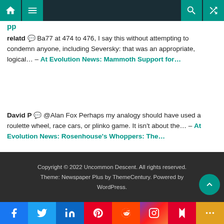Navigation bar with home, menu, search, and shuffle icons
pp
relatd 💬 Ba77 at 474 to 476, I say this without attempting to condemn anyone, including Seversky: that was an appropriate, logical... – At Evolution News: Mammoth Support for...
David P 💬 @Alan Fox Perhaps my analogy should have used a roulette wheel, race cars, or plinko game. It isn't about the... – At Evolution News: Rosenhouse's Whoppers: The...
Copyright © 2022 Uncommon Descent. All rights reserved. Theme: Newspaper Plus by ThemeCentury. Powered by WordPress.